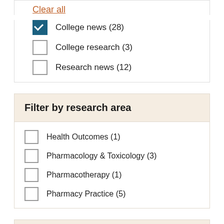Clear all
College news (28) [checked]
College research (3) [unchecked]
Research news (12) [unchecked]
Filter by research area
Health Outcomes (1) [unchecked]
Pharmacology & Toxicology (3) [unchecked]
Pharmacotherapy (1) [unchecked]
Pharmacy Practice (5) [unchecked]
Filter by faculty member